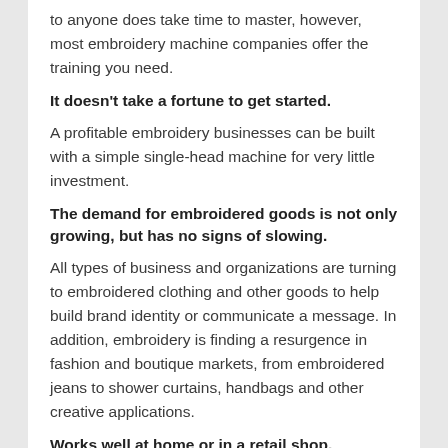to anyone does take time to master, however, most embroidery machine companies offer the training you need.
It doesn't take a fortune to get started.
A profitable embroidery businesses can be built with a simple single-head machine for very little investment.
The demand for embroidered goods is not only growing, but has no signs of slowing.
All types of business and organizations are turning to embroidered clothing and other goods to help build brand identity or communicate a message. In addition, embroidery is finding a resurgence in fashion and boutique markets, from embroidered jeans to shower curtains, handbags and other creative applications.
Works well at home or in a retail shop.